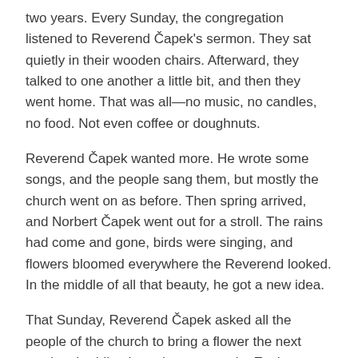two years. Every Sunday, the congregation listened to Reverend Čapek's sermon. They sat quietly in their wooden chairs. Afterward, they talked to one another a little bit, and then they went home. That was all—no music, no candles, no food. Not even coffee or doughnuts.
Reverend Čapek wanted more. He wrote some songs, and the people sang them, but mostly the church went on as before. Then spring arrived, and Norbert Čapek went out for a stroll. The rains had come and gone, birds were singing, and flowers bloomed everywhere the Reverend looked. In the middle of all that beauty, he got a new idea.
That Sunday, Reverend Čapek asked all the people of the church to bring a flower the next week, a budding branch, even a twig. Each person should bring one, he said.
“What kind?” they asked.
“You choose,” he said.
“What color?” they asked.
“Each of you choose what you like.”
The next Sunday was the first day of summer, and people